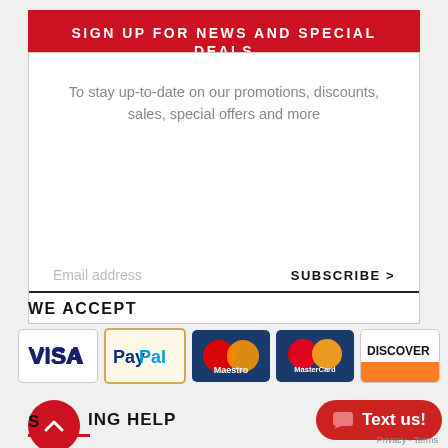SIGN UP FOR NEWS AND SPECIAL DEALS
To stay up-to-date on our promotions, discounts, sales, special offers and more
Email address
SUBSCRIBE >
WE ACCEPT
[Figure (logo): Payment method logos: Visa, PayPal, Maestro, MasterCard, Discover]
SHIPPING HELP
[Figure (other): Red circular scroll-to-top button with up arrow]
[Figure (other): Red Text us chat button]
Privacy · Terms